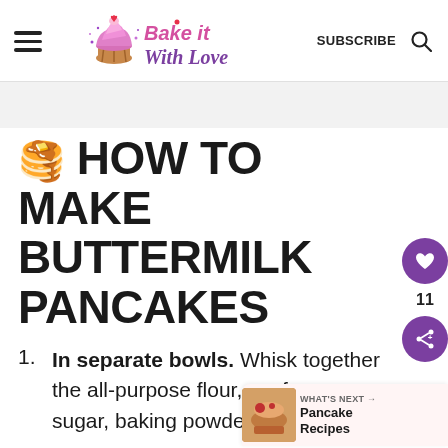Bake it With Love — SUBSCRIBE
🥞 HOW TO MAKE BUTTERMILK PANCAKES
In separate bowls. Whisk together the all-purpose flour, confectioners' sugar, baking powder, baking soda,